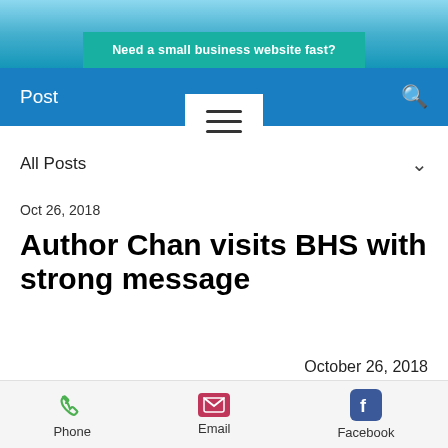[Figure (screenshot): Ad banner at top: teal background with text 'Need a small business website fast?']
Post
[Figure (other): Hamburger menu icon on white background]
All Posts
Oct 26, 2018
Author Chan visits BHS with strong message
October 26, 2018
By David Nordby
Phone  Email  Facebook